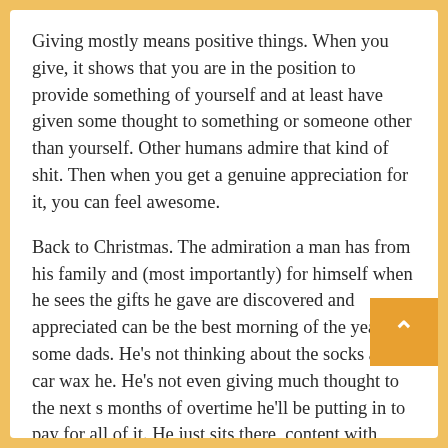Giving mostly means positive things. When you give, it shows that you are in the position to provide something of yourself and at least have given some thought to something or someone other than yourself. Other humans admire that kind of shit. Then when you get a genuine appreciation for it, you can feel awesome.
Back to Christmas. The admiration a man has from his family and (most importantly) for himself when he sees the gifts he gave are discovered and appreciated can be the best morning of the year for some dads. He's not thinking about the socks and car wax he. He's not even giving much thought to the next s months of overtime he'll be putting in to pay for all of it. He just sits there, content with knowing that for another year, he has provided for his family. Good stuff.